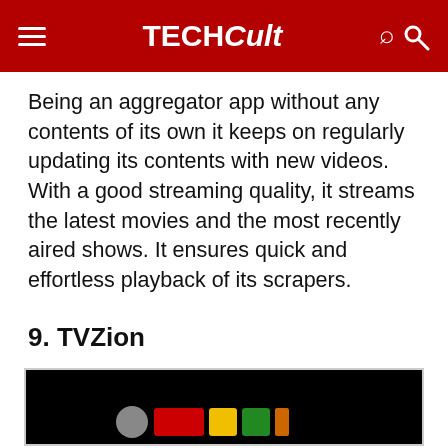TECHCult
Being an aggregator app without any contents of its own it keeps on regularly updating its contents with new videos. With a good streaming quality, it streams the latest movies and the most recently aired shows. It ensures quick and effortless playback of its scrapers.
9. TVZion
[Figure (screenshot): TVZion app logo on a black background, showing colorful lettering at the bottom of the frame]